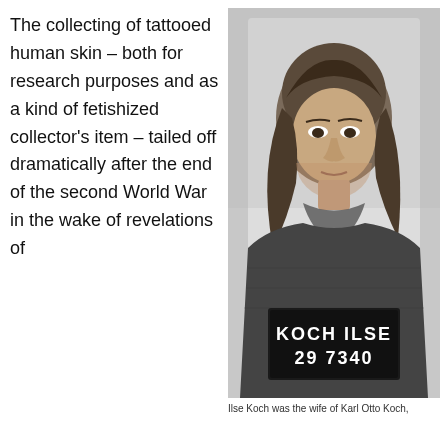The collecting of tattooed human skin – both for research purposes and as a kind of fetishized collector's item – tailed off dramatically after the end of the second World War in the wake of revelations of
[Figure (photo): Black and white mugshot photograph of Ilse Koch, a woman with wavy dark hair wearing a dark sweater. She holds a booking placard reading 'KOCH ILSE 29 7340'.]
Ilse Koch was the wife of Karl Otto Koch,